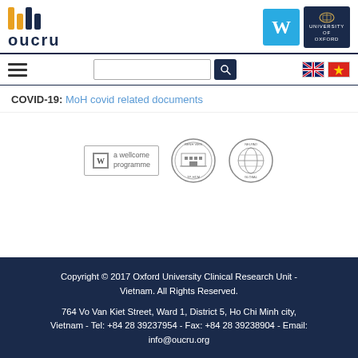[Figure (logo): OUCRU logo with colored bars and text]
[Figure (logo): Wellcome Trust W logo in blue box and Oxford University logo in dark blue box]
[Figure (logo): Hamburger menu icon, search bar with search button, UK and Vietnam flags]
COVID-19: MoH covid related documents
[Figure (logo): Three logos: a wellcome programme, circular building seal, NELPAD global seal]
Copyright © 2017 Oxford University Clinical Research Unit - Vietnam. All Rights Reserved.
764 Vo Van Kiet Street, Ward 1, District 5, Ho Chi Minh city, Vietnam - Tel: +84 28 39237954 - Fax: +84 28 39238904 - Email: info@oucru.org